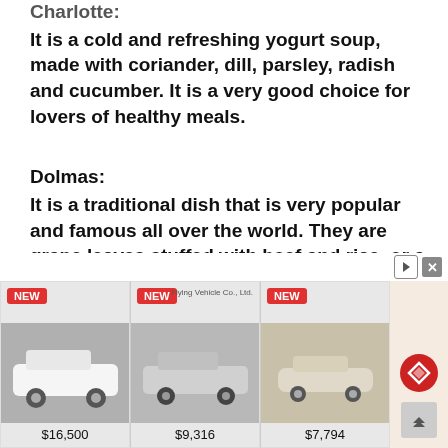Charlotte:
It is a cold and refreshing yogurt soup, made with coriander, dill, parsley, radish and cucumber. It is a very good choice for lovers of healthy meals.
Dolmas:
It is a traditional dish that is very popular and famous all over the world. They are grape leaves stuffed with beef and rice, or a variety of vegetables stuffed inside grape leaves.
Shivt Oshi:
It is one of the most colorful foods in Uzbekistan...
[Figure (other): Car advertisement overlay showing three cars with NEW badges and prices: $16,500, $9,316, $7,794]